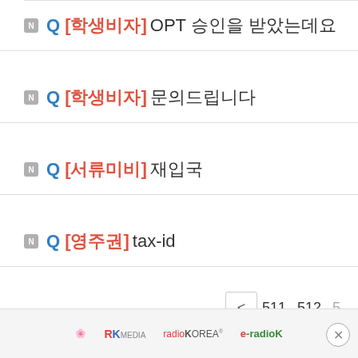Q [학생비자] OPT 승인을 받았는데요
Q [학생비자] 문의드립니다
Q [서류미비] 재입국
Q [영주권] tax-id
< 511 512 5...
RK MEDIA  radioKOREA  e-radio